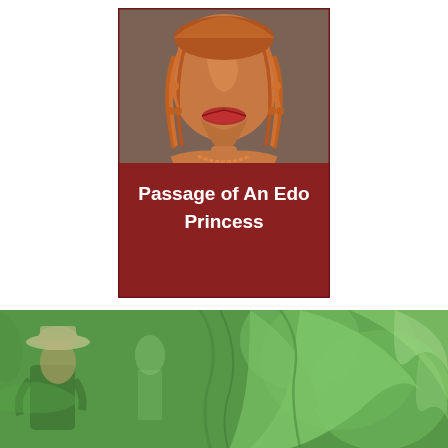[Figure (illustration): Book cover for 'Passage of An Edo Princess'. Dark red/maroon background with an illustrated African woman's face at the top (brown skin tones, orange braided hair, red lips, orange earrings, beaded necklace). The title text 'Passage of An Edo Princess' is displayed in white bold text on the lower half of the cover.]
[Figure (photo): Green-tinted photograph showing a person wearing a colonial-style wide-brimmed hat in a jungle or forest setting, with large leafy plants surrounding them. The image has a strong green wash overlay giving it a monochromatic green appearance.]